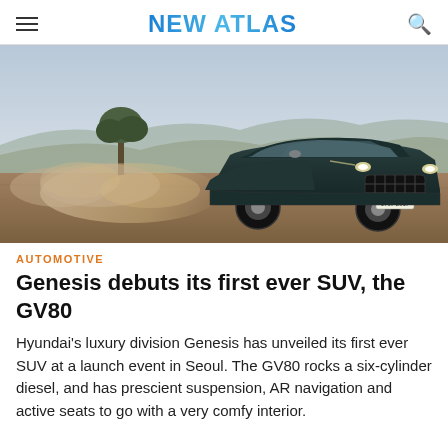NEW ATLAS
[Figure (photo): A dark green Genesis GV80 SUV driving aggressively on a dirt terrain, kicking up dust clouds. A lone tree and desert hills visible in the background under a hazy sky.]
AUTOMOTIVE
Genesis debuts its first ever SUV, the GV80
Hyundai's luxury division Genesis has unveiled its first ever SUV at a launch event in Seoul. The GV80 rocks a six-cylinder diesel, and has prescient suspension, AR navigation and active seats to go with a very comfy interior.